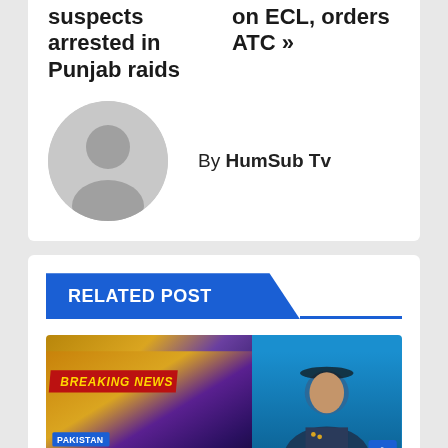suspects arrested in Punjab raids
on ECL, orders ATC »
By HumSub Tv
RELATED POST
[Figure (photo): Breaking news banner with Pakistan tag; Arshad Malik Appointed As PIA CEO headline; officer in military uniform on blue background]
PAKISTAN — Arshad Malik Appointed As PIA CEO — Arshad Malik Appointed As